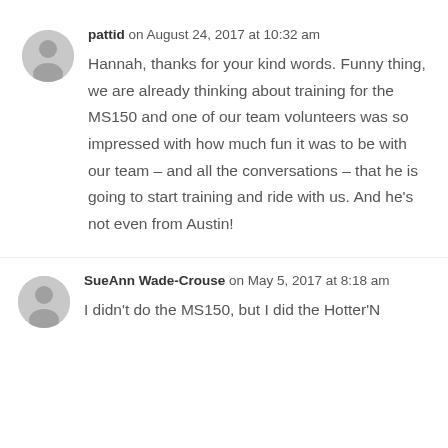pattid on August 24, 2017 at 10:32 am
Hannah, thanks for your kind words. Funny thing, we are already thinking about training for the MS150 and one of our team volunteers was so impressed with how much fun it was to be with our team – and all the conversations – that he is going to start training and ride with us. And he's not even from Austin!
SueAnn Wade-Crouse on May 5, 2017 at 8:18 am
I didn't do the MS150, but I did the Hotter'N